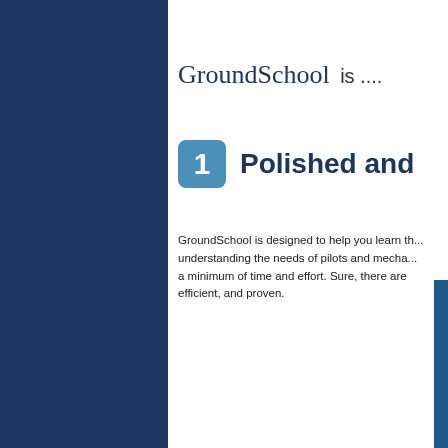[Figure (illustration): Dark navy blue left panel with horizontal stripe pattern covering approximately 37% of the page width]
GroundSchool is ....
1  Polished and
GroundSchool is designed to help you learn th... understanding the needs of pilots and mecha... a minimum of time and effort. Sure, there are efficient, and proven.